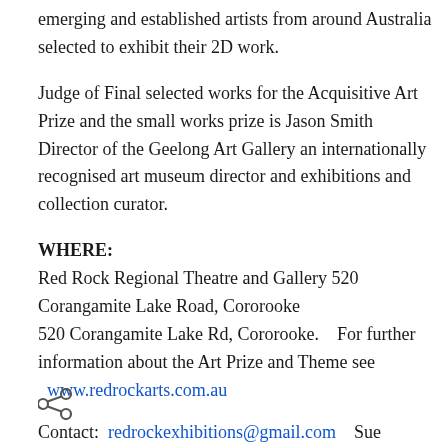emerging and established artists from around Australia selected to exhibit their 2D work.
Judge of Final selected works for the Acquisitive Art Prize and the small works prize is Jason Smith Director of the Geelong Art Gallery an internationally recognised art museum director and exhibitions and collection curator.
WHERE:
Red Rock Regional Theatre and Gallery 520 Corangamite Lake Road, Cororooke
520 Corangamite Lake Rd, Cororooke.   For further information about the Art Prize and Theme see   www.redrockarts.com.au
Contact:  redrockexhibitions@gmail.com    Sue Cauble:  0408238252
[Figure (illustration): Share icon (less-than style share button)]